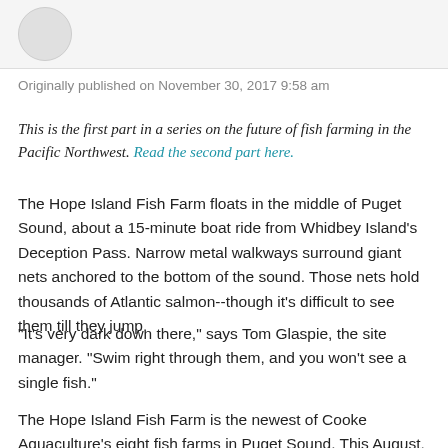[Figure (other): Avatar circle placeholder in a light gray header bar]
Originally published on November 30, 2017 9:58 am
This is the first part in a series on the future of fish farming in the Pacific Northwest. Read the second part here.
The Hope Island Fish Farm floats in the middle of Puget Sound, about a 15-minute boat ride from Whidbey Island's Deception Pass. Narrow metal walkways surround giant nets anchored to the bottom of the sound. Those nets hold thousands of Atlantic salmon--though it's difficult to see them till they jump.
“It’s very dark down there,” says Tom Glaspie, the site manager. “Swim right through them, and you won’t see a single fish.”
The Hope Island Fish Farm is the newest of Cooke Aquaculture’s eight fish farms in Puget Sound. This August,